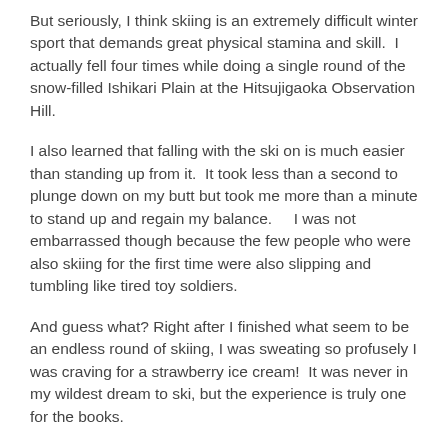But seriously, I think skiing is an extremely difficult winter sport that demands great physical stamina and skill.  I actually fell four times while doing a single round of the snow-filled Ishikari Plain at the Hitsujigaoka Observation Hill.
I also learned that falling with the ski on is much easier than standing up from it.  It took less than a second to plunge down on my butt but took me more than a minute to stand up and regain my balance.    I was not embarrassed though because the few people who were also skiing for the first time were also slipping and tumbling like tired toy soldiers.
And guess what? Right after I finished what seem to be an endless round of skiing, I was sweating so profusely I was craving for a strawberry ice cream!  It was never in my wildest dream to ski, but the experience is truly one for the books.
Pinawisan ako. Pramis!